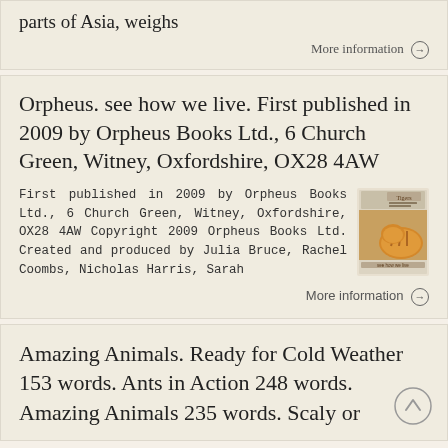parts of Asia, weighs
More information →
Orpheus. see how we live. First published in 2009 by Orpheus Books Ltd., 6 Church Green, Witney, Oxfordshire, OX28 4AW
First published in 2009 by Orpheus Books Ltd., 6 Church Green, Witney, Oxfordshire, OX28 4AW Copyright 2009 Orpheus Books Ltd. Created and produced by Julia Bruce, Rachel Coombs, Nicholas Harris, Sarah
[Figure (photo): Book cover thumbnail showing a tiger image with the word 'Tigers']
More information →
Amazing Animals. Ready for Cold Weather 153 words. Ants in Action 248 words. Amazing Animals 235 words. Scaly or